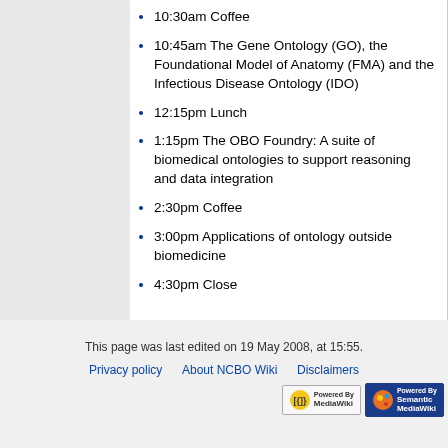10:30am Coffee
10:45am The Gene Ontology (GO), the Foundational Model of Anatomy (FMA) and the Infectious Disease Ontology (IDO)
12:15pm Lunch
1:15pm The OBO Foundry: A suite of biomedical ontologies to support reasoning and data integration
2:30pm Coffee
3:00pm Applications of ontology outside biomedicine
4:30pm Close
This page was last edited on 19 May 2008, at 15:55.
Privacy policy   About NCBO Wiki   Disclaimers